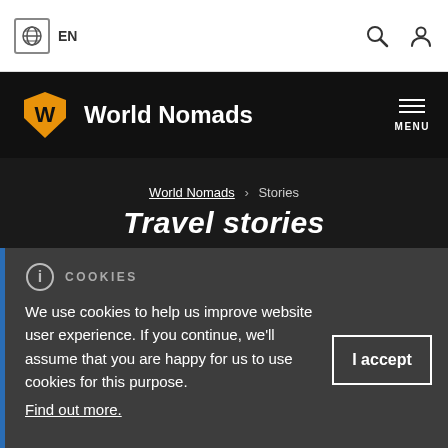EN
World Nomads — MENU
World Nomads › Stories
Travel stories
COOKIES
We use cookies to help us improve website user experience. If you continue, we'll assume that you are happy for us to use cookies for this purpose. Find out more.